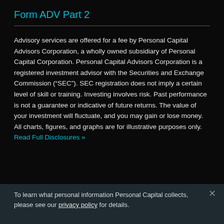Form ADV Part 2
Advisory services are offered for a fee by Personal Capital Advisors Corporation, a wholly owned subsidiary of Personal Capital Corporation. Personal Capital Advisors Corporation is a registered investment advisor with the Securities and Exchange Commission (“SEC”). SEC registration does not imply a certain level of skill or training. Investing involves risk. Past performance is not a guarantee or indicative of future returns. The value of your investment will fluctuate, and you may gain or lose money. All charts, figures, and graphs are for illustrative purposes only. Read Full Disclosures »
To learn what personal information Personal Capital collects, please see our privacy policy for details.